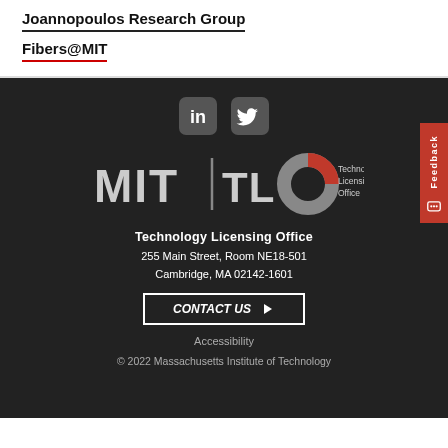Joannopoulos Research Group
Fibers@MIT
[Figure (logo): LinkedIn and Twitter social media icons (rounded square badges)]
[Figure (logo): MIT TLO (Technology Licensing Office) logo with MIT wordmark, vertical bar, TLO text and circular icon, plus 'Technology Licensing Office' text]
Technology Licensing Office
255 Main Street, Room NE18-501
Cambridge, MA 02142-1601
CONTACT US
Accessibility
© 2022 Massachusetts Institute of Technology